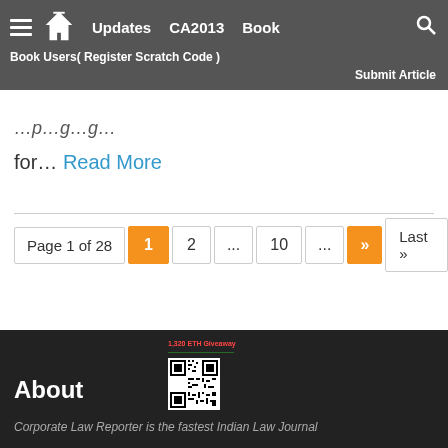Updates   CA2013   Book   Book Users( Register Scratch Code )   Submit Article
for… Read More
Page 1 of 28   1   2   ...   10   ...   »   Last »
About
Corporate Law Reporter is the fastest Indian Law Journal